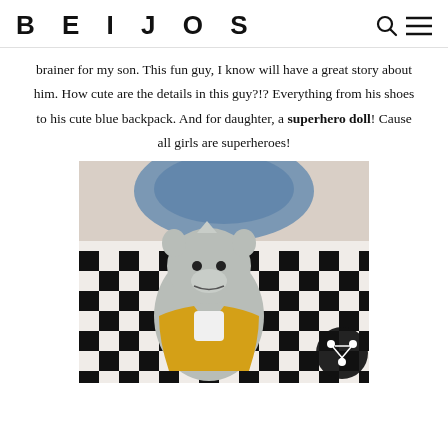BEIJOS
brainer for my son. This fun guy, I know will have a great story about him. How cute are the details in this guy?!? Everything from his shoes to his cute blue backpack. And for daughter, a superhero doll! Cause all girls are superheroes!
[Figure (photo): A stuffed animal toy dinosaur/rhino character with grey fabric body, wearing a yellow jacket, sitting in front of a black and white checkered bag/backpack with blue denim lining visible at top. A share button icon is overlaid in the bottom right corner.]